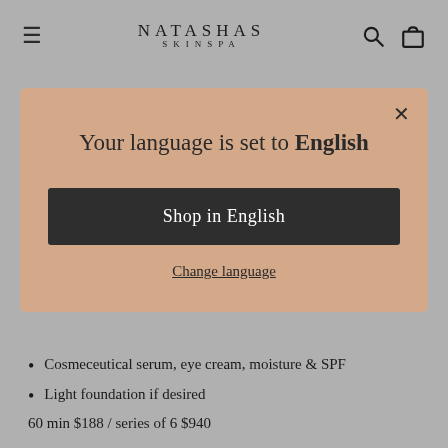NATASHAS SKINSPA
Your language is set to English
Shop in English
Change language
Cosmeceutical serum, eye cream, moisture & SPF
Light foundation if desired
60 min $188 / series of 6 $940